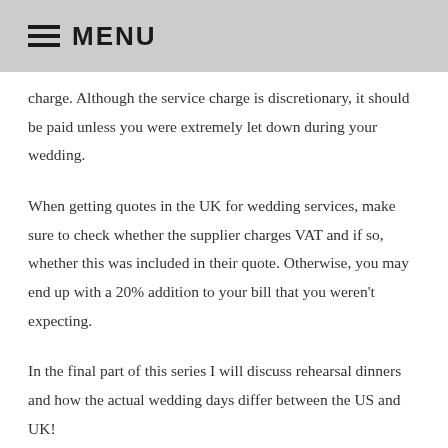MENU
charge. Although the service charge is discretionary, it should be paid unless you were extremely let down during your wedding.
When getting quotes in the UK for wedding services, make sure to check whether the supplier charges VAT and if so, whether this was included in their quote. Otherwise, you may end up with a 20% addition to your bill that you weren't expecting.
In the final part of this series I will discuss rehearsal dinners and how the actual wedding days differ between the US and UK!
If you want more posts like this one, subscribe to